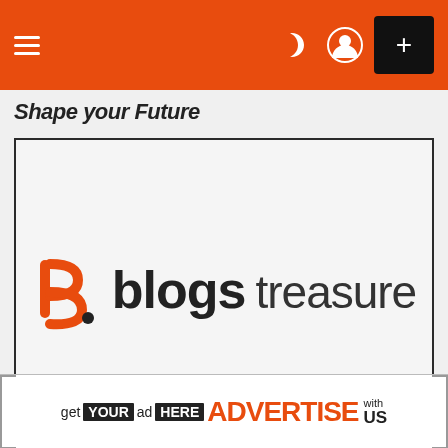Navigation bar with hamburger menu, dark mode icon, user icon, and plus button
Shape Your Future
[Figure (logo): Blogs Treasure logo: orange stylized 'b' icon with dot, followed by bold 'blogs' text and regular weight 'treasure' text]
Shopping & Product Reviews
× close
[Figure (infographic): Advertisement banner: 'get YOUR ad HERE ADVERTISE with US']